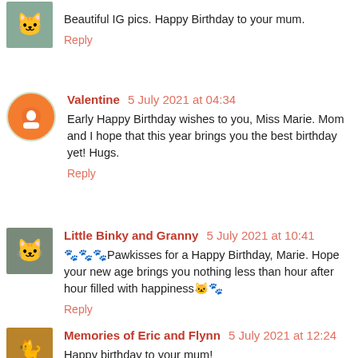Beautiful IG pics. Happy Birthday to your mum.
Reply
Valentine 5 July 2021 at 04:34
Early Happy Birthday wishes to you, Miss Marie. Mom and I hope that this year brings you the best birthday yet! Hugs.
Reply
Little Binky and Granny 5 July 2021 at 10:41
🐾🐾🐾Pawkisses for a Happy Birthday, Marie. Hope your new age brings you nothing less than hour after hour filled with happiness🐱🐾
Reply
Memories of Eric and Flynn 5 July 2021 at 12:24
Happy birthday to your mum!